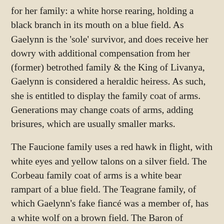for her family: a white horse rearing, holding a black branch in its mouth on a blue field. As Gaelynn is the 'sole' survivor, and does receive her dowry with additional compensation from her (former) betrothed family & the King of Livanya, Gaelynn is considered a heraldic heiress. As such, she is entitled to display the family coat of arms. Generations may change coats of arms, adding brisures, which are usually smaller marks.
The Faucione family uses a red hawk in flight, with white eyes and yellow talons on a silver field. The Corbeau family coat of arms is a white bear rampart of a blue field. The Teagrane family, of which Gaelynn's fake fiancé was a member of, has a white wolf on a brown field. The Baron of Wymerth is represented by a black dog of war on a white field. The Barony of Wesnes has a black wolf on a blue field. King Arken is recognized by a red lion rampart with a gold sun to the right and a silver moon to the left on a purple field. King Arken's brother Prince Faxon uses a single yellow star over a red lion rampart on a purple field, whereas Prince Briac has two stars. The royal children use their father's coat of arms with cadency marks, bastards add the white bar